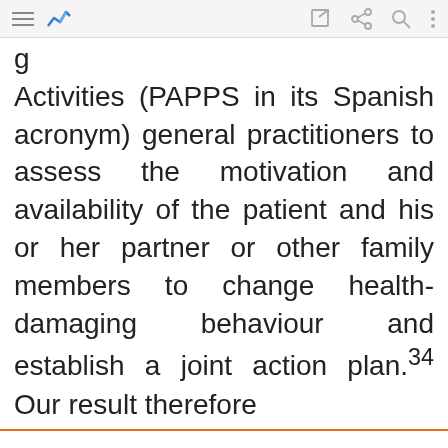toolbar with navigation icons
Activities (PAPPS in its Spanish acronym) general practitioners to assess the motivation and availability of the patient and his or her partner or other family members to change health-damaging behaviour and establish a joint action plan.³⁴ Our result therefore
We use cookies that are necessary to make our site work. We may also use additional cookies to analyze, improve, and personalize our content and your digital experience. For more information, see our Cookie Policy
Cookie settings
Accept all cookies